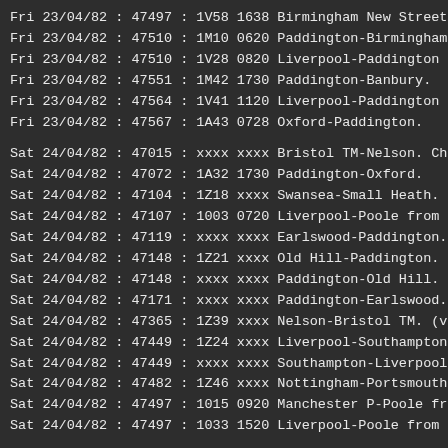Fri 23/04/82 : 47497 : 1V58 1638 Birmingham New Street-P...
Fri 23/04/82 : 47510 : 1M10 0620 Paddington-Birmingham N...
Fri 23/04/82 : 47510 : 1V28 0820 Liverpool-Paddington fr...
Fri 23/04/82 : 47551 : 1M42 1730 Paddington-Banbury.
Fri 23/04/82 : 47564 : 1V41 1120 Liverpool-Paddington fr...
Fri 23/04/82 : 47567 : 1A43 0728 Oxford-Paddington.
Sat 24/04/82 : 47015 : xxxx xxxx Bristol TM-Nelson. Char...
Sat 24/04/82 : 47072 : 1A32 1730 Paddington-Oxford.
Sat 24/04/82 : 47104 : 1Z18 xxxx Swansea-Small Heath. (v...
Sat 24/04/82 : 47107 : 1003 0720 Liverpool-Poole from Co...
Sat 24/04/82 : 47119 : xxxx xxxx Earlswood-Paddington. (...
Sat 24/04/82 : 47148 : 1Z21 xxxx Old Hill-Paddington. (v...
Sat 24/04/82 : 47148 : xxxx xxxx Paddington-Old Hill. (v...
Sat 24/04/82 : 47171 : xxxx xxxx Paddington-Earlswood. (...
Sat 24/04/82 : 47365 : 1Z39 xxxx Nelson-Bristol TM. (vie...
Sat 24/04/82 : 47449 : 1Z24 xxxx Liverpool-Southampton.
Sat 24/04/82 : 47449 : xxxx xxxx Southampton-Liverpool.
Sat 24/04/82 : 47482 : 1Z46 xxxx Nottingham-Portsmouth H...
Sat 24/04/82 : 47497 : 1015 0920 Manchester P-Poole from...
Sat 24/04/82 : 47497 : 1033 1520 Liverpool-Poole from...